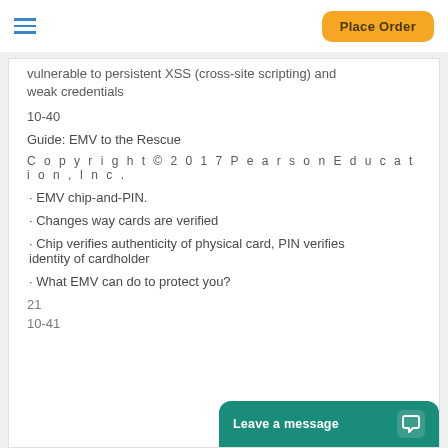Place Order
vulnerable to persistent XSS (cross-site scripting) and weak credentials
10-40
Guide: EMV to the Rescue
Copyright © 2017 Pearson Education, Inc.
• EMV chip-and-PIN.
• Changes way cards are verified
• Chip verifies authenticity of physical card, PIN verifies identity of cardholder
• What EMV can do to protect you?
21
10-41
Leave a message